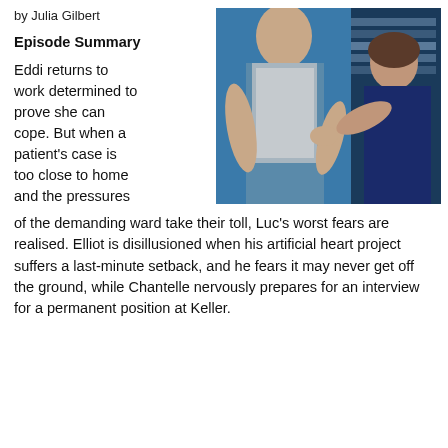by Julia Gilbert
Episode Summary
Eddi returns to work determined to prove she can cope. But when a patient's case is too close to home and the pressures of the demanding ward take their toll, Luc's worst fears are realised. Elliot is disillusioned when his artificial heart project suffers a last-minute setback, and he fears it may never get off the ground, while Chantelle nervously prepares for an interview for a permanent position at Keller.
[Figure (photo): Two people in a hospital/ward setting. On the left, a man in blue scrubs with a grey hoodie. On the right, a woman in dark clothing with her arm extended. They appear to be in an intense interaction, possibly a medical or dramatic scene.]